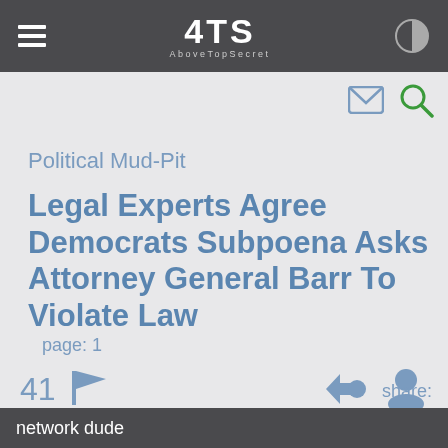ATS AboveTopSecret
Political Mud-Pit
Legal Experts Agree Democrats Subpoena Asks Attorney General Barr To Violate Law
page: 1
41
<< 2 >>
share:
network dude